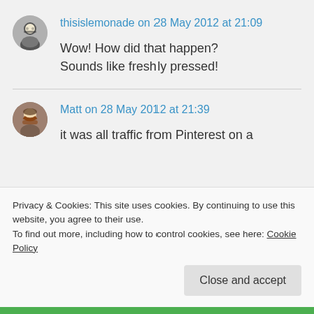thisislemonade on 28 May 2012 at 21:09
Wow! How did that happen? Sounds like freshly pressed!
Matt on 28 May 2012 at 21:39
it was all traffic from Pinterest on a
Privacy & Cookies: This site uses cookies. By continuing to use this website, you agree to their use. To find out more, including how to control cookies, see here: Cookie Policy
Close and accept